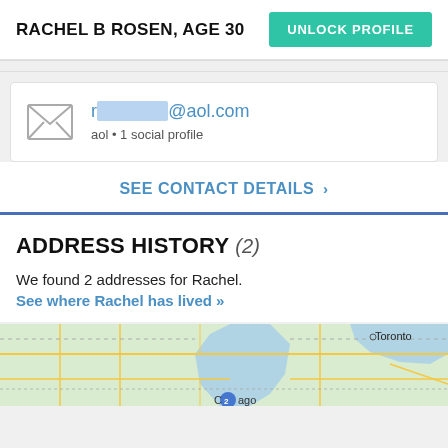RACHEL B ROSEN, AGE 30
UNLOCK PROFILE
r█████@aol.com
aol • 1 social profile
SEE CONTACT DETAILS >
ADDRESS HISTORY (2)
We found 2 addresses for Rachel.
See where Rachel has lived »
[Figure (map): Map showing area around Chicago and Toronto with roads and water bodies visible]